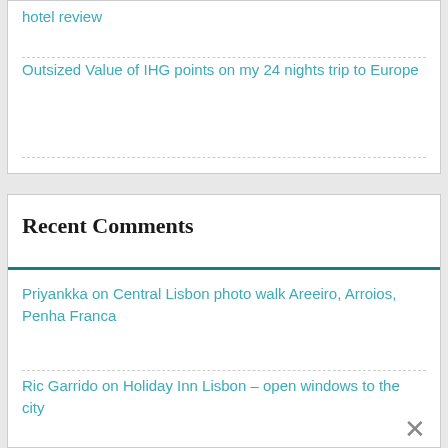hotel review
Outsized Value of IHG points on my 24 nights trip to Europe
Recent Comments
Priyankka on Central Lisbon photo walk Areeiro, Arroios, Penha Franca
Ric Garrido on Holiday Inn Lisbon – open windows to the city
P T on Holiday Inn Lisbon – open windows to the city